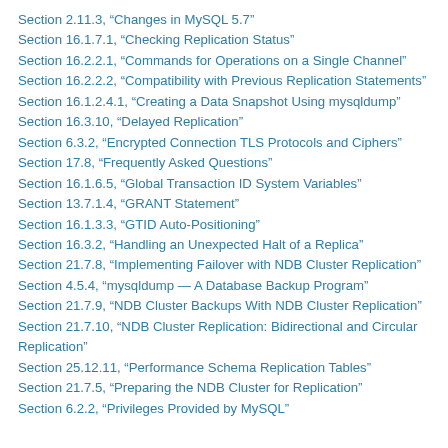Section 2.11.3, “Changes in MySQL 5.7”
Section 16.1.7.1, “Checking Replication Status”
Section 16.2.2.1, “Commands for Operations on a Single Channel”
Section 16.2.2.2, “Compatibility with Previous Replication Statements”
Section 16.1.2.4.1, “Creating a Data Snapshot Using mysqldump”
Section 16.3.10, “Delayed Replication”
Section 6.3.2, “Encrypted Connection TLS Protocols and Ciphers”
Section 17.8, “Frequently Asked Questions”
Section 16.1.6.5, “Global Transaction ID System Variables”
Section 13.7.1.4, “GRANT Statement”
Section 16.1.3.3, “GTID Auto-Positioning”
Section 16.3.2, “Handling an Unexpected Halt of a Replica”
Section 21.7.8, “Implementing Failover with NDB Cluster Replication”
Section 4.5.4, “mysqldump — A Database Backup Program”
Section 21.7.9, “NDB Cluster Backups With NDB Cluster Replication”
Section 21.7.10, “NDB Cluster Replication: Bidirectional and Circular Replication”
Section 25.12.11, “Performance Schema Replication Tables”
Section 21.7.5, “Preparing the NDB Cluster for Replication”
Section 6.2.2, “Privileges Provided by MySQL”